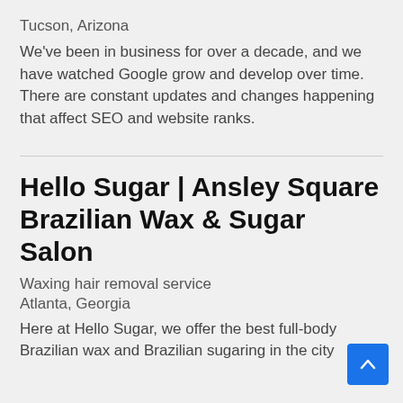Tucson, Arizona
We've been in business for over a decade, and we have watched Google grow and develop over time. There are constant updates and changes happening that affect SEO and website ranks.
Hello Sugar | Ansley Square Brazilian Wax & Sugar Salon
Waxing hair removal service
Atlanta, Georgia
Here at Hello Sugar, we offer the best full-body Brazilian wax and Brazilian sugaring in the city